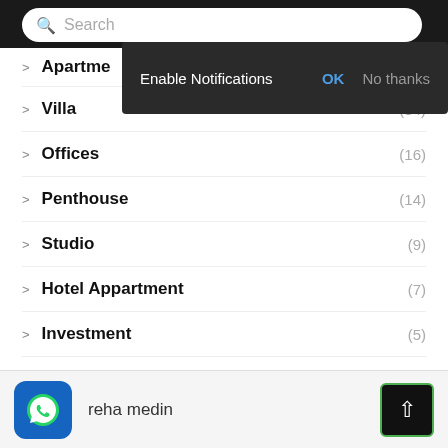[Figure (screenshot): Mobile app screenshot showing a real estate category list with a notification popup overlay. Search bar at top, list of property types with counts, and footer with WhatsApp icon and user name 'reha medin'.]
Apartments (partially visible)
Villa (34)
Offices (16)
Penthouse (14)
Studio (9)
Hotel Appartment (7)
Investment (5)
Land (4)
Business for Sale (3)
reha medin